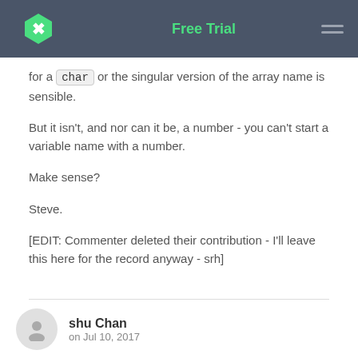Free Trial
for a char or the singular version of the array name is sensible.
But it isn't, and nor can it be, a number - you can't start a variable name with a number.
Make sense?
Steve.
[EDIT: Commenter deleted their contribution - I'll leave this here for the record anyway - srh]
shu Chan
on Jul 10, 2017
Thanks Steve sorry I deleted the question thinking it was a stupid question but you made a lot of sense